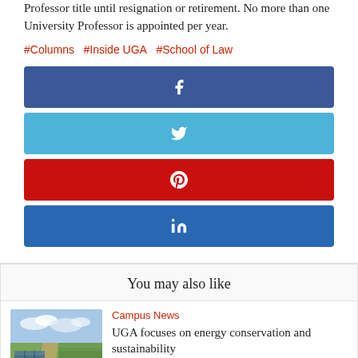Professor title until resignation or retirement. No more than one University Professor is appointed per year.
#Columns  #Inside UGA  #School of Law
[Figure (infographic): Social media share buttons: Facebook (dark blue), Twitter (light blue), Pinterest (red), LinkedIn (dark blue), each showing respective icons centered on colored bars.]
You may also like
[Figure (photo): Aerial landscape photo showing solar panels, fields, and trees at UGA]
Campus News
UGA focuses on energy conservation and sustainability